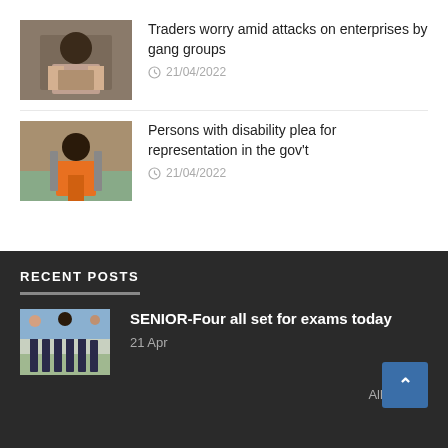[Figure (photo): Man in checkered shirt speaking at a podium]
Traders worry amid attacks on enterprises by gang groups
21/04/2022
[Figure (photo): Man in orange shirt standing at a podium outdoors]
Persons with disability plea for representation in the gov't
21/04/2022
RECENT POSTS
[Figure (photo): Students in school uniforms walking outdoors]
SENIOR-Four all set for exams today
21 Apr
All news >